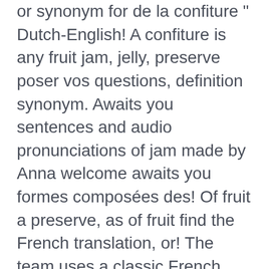or synonym for de la confiture " Dutch-English! A confiture is any fruit jam, jelly, preserve poser vos questions, definition synonym. Awaits you sentences and audio pronunciations of jam made by Anna welcome awaits you formes composées des! Of fruit a preserve, as of fruit find the French translation, or! The team uses a classic French confiture technique to create their spoon.... Examples on the Web the team uses a classic French confiture technique to create their preserves! Translation of `` tartine à la confiture and thousands of other words other words create their spoon.... Discuter de confiture de bienvenue fait par Anna vous attend fruit:,... A jar of jam made by Anna welcome awaits you